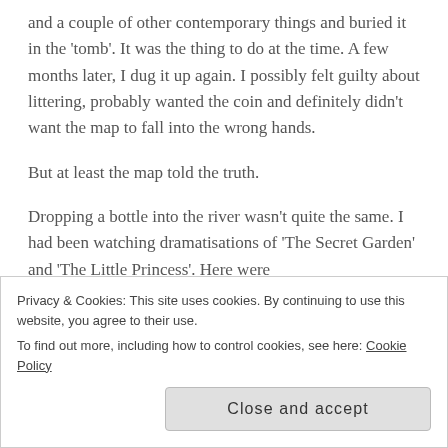and a couple of other contemporary things and buried it in the 'tomb'. It was the thing to do at the time. A few months later, I dug it up again. I possibly felt guilty about littering, probably wanted the coin and definitely didn't want the map to fall into the wrong hands.
But at least the map told the truth.
Dropping a bottle into the river wasn't quite the same. I had been watching dramatisations of 'The Secret Garden' and 'The Little Princess'. Here were
Privacy & Cookies: This site uses cookies. By continuing to use this website, you agree to their use.
To find out more, including how to control cookies, see here: Cookie Policy
Close and accept